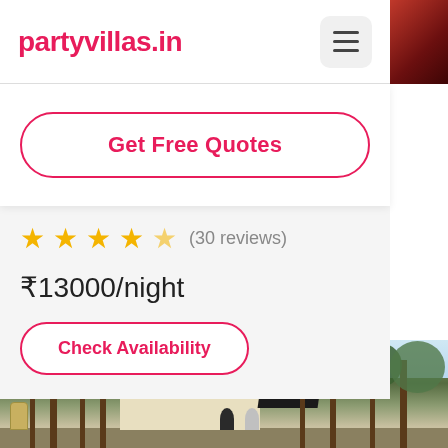partyvillas.in
Get Free Quotes
★★★★½ (30 reviews)
₹13000/night
Check Availability
[Figure (photo): Exterior view of a party villa with trees and a multi-storey building in background]